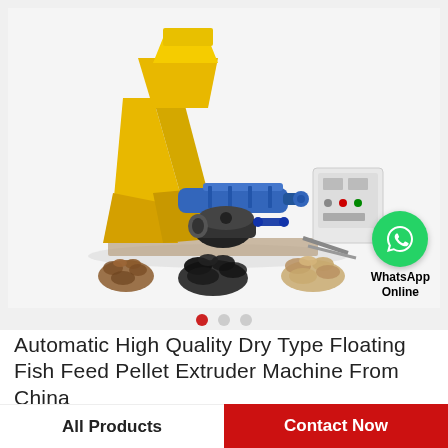[Figure (photo): Automatic dry type floating fish feed pellet extruder machine (yellow and blue industrial machine) with electric motor and control panel, plus three sample pellet piles shown below]
Automatic High Quality Dry Type Floating Fish Feed Pellet Extruder Machine From China
All Products   Contact Now